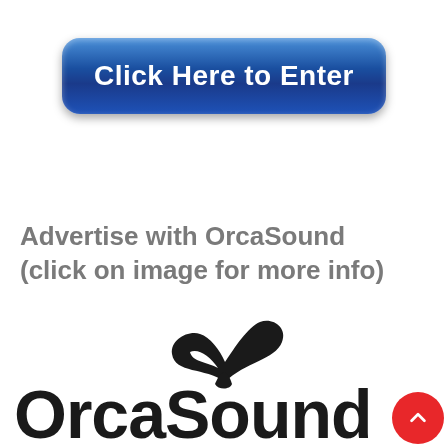[Figure (other): Blue rounded rectangular button with text 'Click Here to Enter' in white bold font]
Advertise with OrcaSound (click on image for more info)
[Figure (logo): OrcaSound logo with whale tail graphic above the company name in bold black text, with a red circular scroll-up button overlapping bottom right]